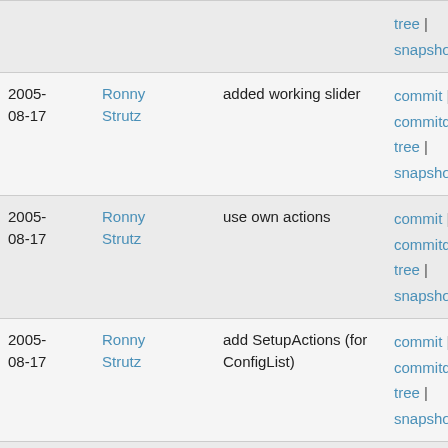| Date | Author | Message | Links |
| --- | --- | --- | --- |
|  |  |  | tree | snapshot |
| 2005-08-17 | Ronny Strutz | added working slider | commit | commitdiff | tree | snapshot |
| 2005-08-17 | Ronny Strutz | use own actions | commit | commitdiff | tree | snapshot |
| 2005-08-17 | Ronny Strutz | add SetupActions (for ConfigList) | commit | commitdiff | tree | snapshot |
| 2005-08-16 | Felix Domke | - fix segfault when there was no attached listbox | commit | commitdiff | tree | snapshot |